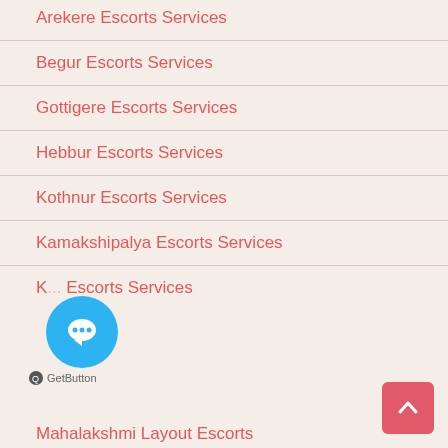Arekere Escorts Services
Begur Escorts Services
Gottigere Escorts Services
Hebbur Escorts Services
Kothnur Escorts Services
Kamakshipalya Escorts Services
K... Escorts Services
Mahalakshmi Layout Escorts